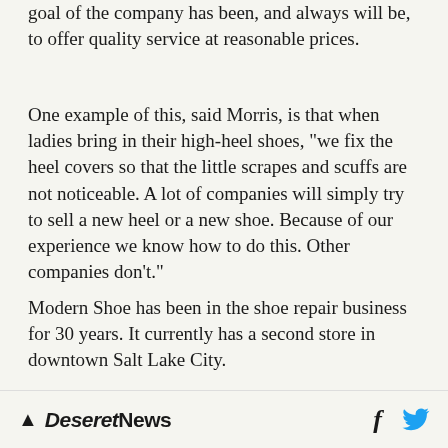goal of the company has been, and always will be, to offer quality service at reasonable prices.
One example of this, said Morris, is that when ladies bring in their high-heel shoes, "we fix the heel covers so that the little scrapes and scuffs are not noticeable. A lot of companies will simply try to sell a new heel or a new shoe. Because of our experience we know how to do this. Other companies don't."
Modern Shoe has been in the shoe repair business for 30 years. It currently has a second store in downtown Salt Lake City.
Deseret News